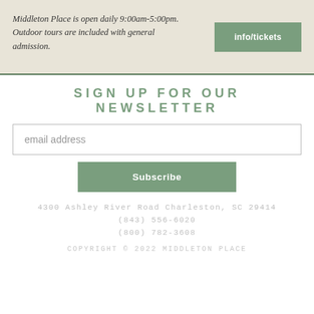Middleton Place is open daily 9:00am-5:00pm.
Outdoor tours are included with general admission.
info/tickets
SIGN UP FOR OUR NEWSLETTER
email address
Subscribe
4300 Ashley River Road Charleston, SC 29414
(843) 556-6020
(800) 782-3608
COPYRIGHT © 2022 MIDDLETON PLACE